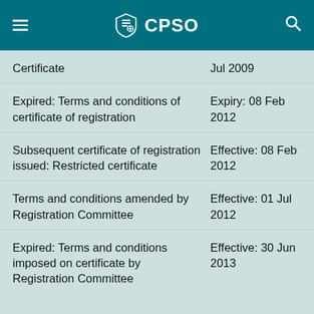CPSO
Certificate
Expired: Terms and conditions of certificate of registration
Subsequent certificate of registration issued: Restricted certificate
Terms and conditions amended by Registration Committee
Expired: Terms and conditions imposed on certificate by Registration Committee